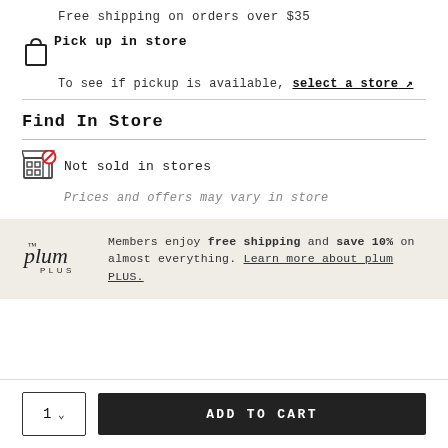Free shipping on orders over $35
Pick up in store
To see if pickup is available, select a store ↗
Find In Store
Not sold in stores
Prices and offers may vary in store
Members enjoy free shipping and save 10% on almost everything. Learn more about plum PLUS.
1 ∨   ADD TO CART